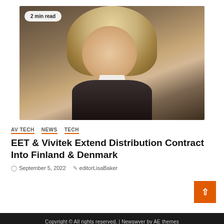[Figure (photo): Portrait photo of a blonde woman in business attire with a '2 min read' badge overlay in the top-left corner]
AV TECH   NEWS   TECH
EET & Vivitek Extend Distribution Contract Into Finland & Denmark
September 5, 2022   editorLisaBaker
Copyright © All rights reserved. | Newswver by AE themes